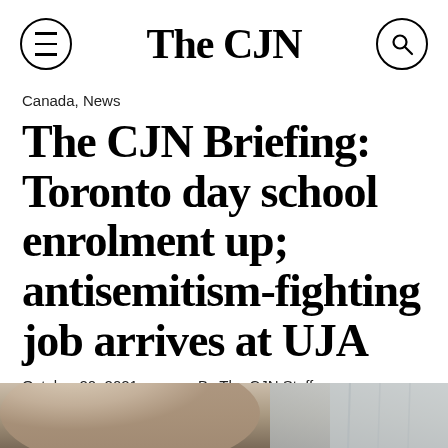The CJN
Canada, News
The CJN Briefing: Toronto day school enrolment up; antisemitism-fighting job arrives at UJA
October 20, 2021    By The CJN Staff
[Figure (photo): Bottom portion of a photograph showing a person, partially visible, with a light interior background]